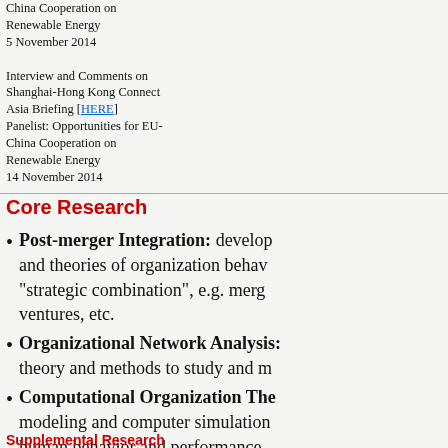China Cooperation on Renewable Energy 5 November 2014
Interview and Comments on Shanghai-Hong Kong Connect Asia Briefing [HERE] Panelist: Opportunities for EU-China Cooperation on Renewable Energy 14 November 2014
Core Research
Post-merger Integration: developing and theories of organization behavior "strategic combination", e.g. merg ventures, etc.
Organizational Network Analysis: theory and methods to study and m
Computational Organization The modeling and computer simulation human behavior and performance
Supplemental Research